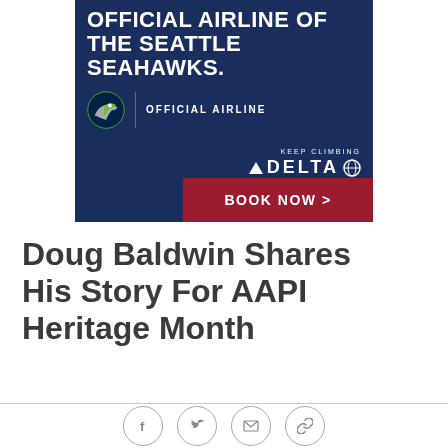[Figure (illustration): Delta Airlines advertisement: Navy blue background with text 'OFFICIAL AIRLINE OF THE SEATTLE SEAHAWKS.' at top, Seattle Seahawks logo and 'OFFICIAL AIRLINE' text in middle, Delta Airlines 'KEEP CLIMBING' logo bottom right, and a dark red 'BOOK NOW >' button at bottom right.]
Doug Baldwin Shares His Story For AAPI Heritage Month
[Figure (infographic): Social sharing icons: Facebook, Twitter, Email, and Link icons in circular outlines]